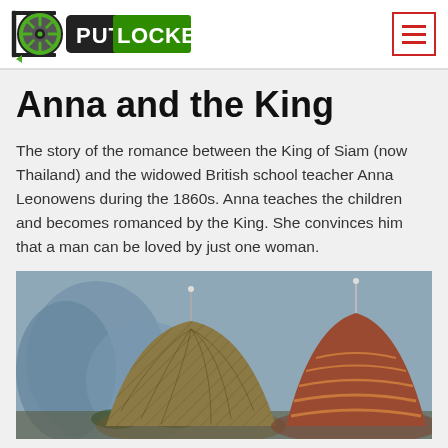PutLocker logo and navigation menu
Anna and the King
The story of the romance between the King of Siam (now Thailand) and the widowed British school teacher Anna Leonowens during the 1860s. Anna teaches the children and becomes romanced by the King. She convinces him that a man can be loved by just one woman.
[Figure (photo): Two ornate dome-shaped structures with intricate woven/textile patterns, one in foreground center and one to the right, against a blue-grey sky with rocky mountain silhouettes in the background. Scene appears to be from the movie Anna and the King.]